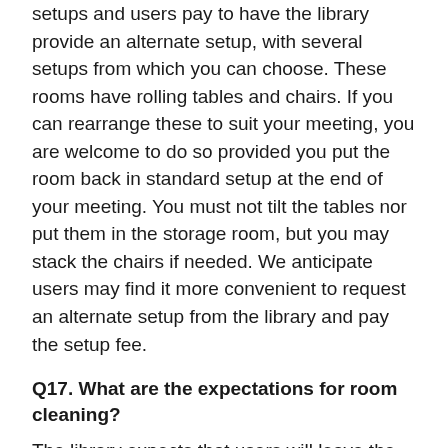setups and users pay to have the library provide an alternate setup, with several setups from which you can choose. These rooms have rolling tables and chairs. If you can rearrange these to suit your meeting, you are welcome to do so provided you put the room back in standard setup at the end of your meeting. You must not tilt the tables nor put them in the storage room, but you may stack the chairs if needed. We anticipate users may find it more convenient to request an alternate setup from the library and pay the setup fee.
Q17. What are the expectations for room cleaning?
The library expects that users will leave the room in condition for the next user. If you have used food and paid the fee in a small meeting room, the fee includes custodial service to empty the trash after your meeting. For meetings in larger rooms that